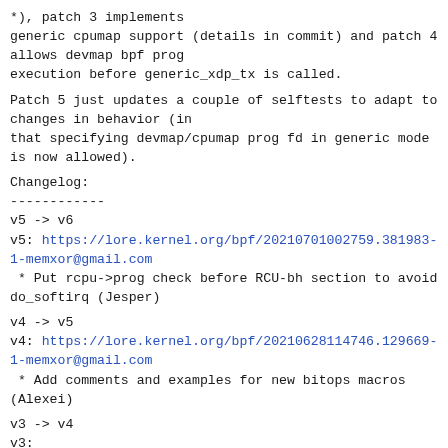*), patch 3 implements generic cpumap support (details in commit) and patch 4 allows devmap bpf prog execution before generic_xdp_tx is called.
Patch 5 just updates a couple of selftests to adapt to changes in behavior (in that specifying devmap/cpumap prog fd in generic mode is now allowed).
Changelog:
------------
v5 -> v6
v5: https://lore.kernel.org/bpf/20210701002759.381983-1-memxor@gmail.com
 * Put rcpu->prog check before RCU-bh section to avoid do_softirq (Jesper)
v4 -> v5
v4: https://lore.kernel.org/bpf/20210628114746.129669-1-memxor@gmail.com
 * Add comments and examples for new bitops macros (Alexei)
v3 -> v4
v3: https://lore.kernel.org/bpf/20210622202835.1151230-1-memxor@gmail.com
 * Add detach now that attach of XDP program succeeds (Toke)
 * Clean up the test to use new ASSERT macros